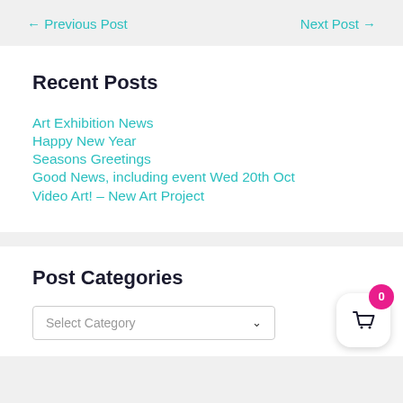← Previous Post    Next Post →
Recent Posts
Art Exhibition News
Happy New Year
Seasons Greetings
Good News, including event Wed 20th Oct
Video Art! – New Art Project
Post Categories
Select Category